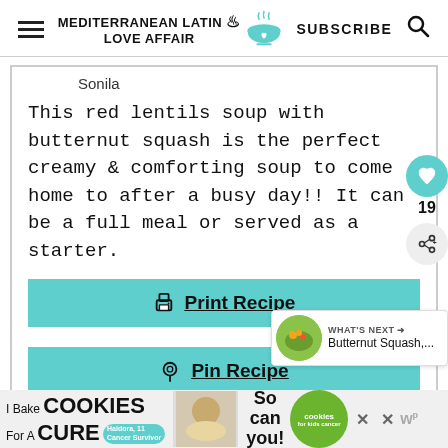MEDITERRANEAN LATIN LOVE AFFAIR | SUBSCRIBE
Sonila
This red lentils soup with butternut squash is the perfect creamy & comforting soup to come home to after a busy day!! It can be a full meal or served as a starter.
Print Recipe
Pin Recipe
[Figure (screenshot): Advertisement banner: I Bake COOKIES For A CURE with Haidora, 11 Cancer Survivor. So can you! cookies for kids cancer logo.]